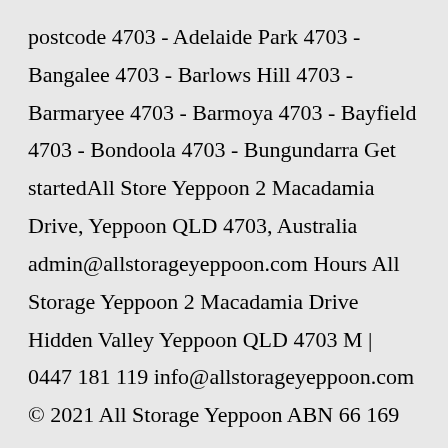postcode 4703 - Adelaide Park 4703 - Bangalee 4703 - Barlows Hill 4703 - Barmaryee 4703 - Barmoya 4703 - Bayfield 4703 - Bondoola 4703 - Bungundarra Get startedAll Store Yeppoon 2 Macadamia Drive, Yeppoon QLD 4703, Australia admin@allstorageyeppoon.com Hours All Storage Yeppoon 2 Macadamia Drive Hidden Valley Yeppoon QLD 4703 M | 0447 181 119 info@allstorageyeppoon.com © 2021 All Storage Yeppoon ABN 66 169...